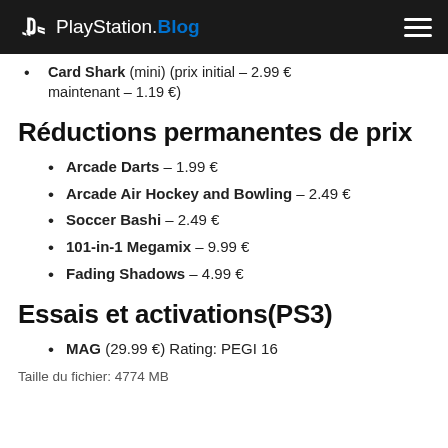PlayStation.Blog
Card Shark (mini) (prix initial – 2.99 € maintenant – 1.19 €)
Réductions permanentes de prix
Arcade Darts – 1.99 €
Arcade Air Hockey and Bowling – 2.49 €
Soccer Bashi – 2.49 €
101-in-1 Megamix – 9.99 €
Fading Shadows – 4.99 €
Essais et activations(PS3)
MAG (29.99 €) Rating: PEGI 16
Taille du fichier: 4774 MB